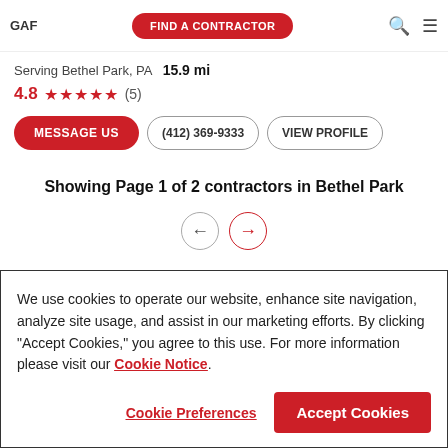GAF | FIND A CONTRACTOR
Serving Bethel Park, PA  15.9 mi
4.8 ★★★★★ (5)
MESSAGE US | (412) 369-9333 | VIEW PROFILE
Showing Page 1 of 2 contractors in Bethel Park
We use cookies to operate our website, enhance site navigation, analyze site usage, and assist in our marketing efforts. By clicking "Accept Cookies," you agree to this use. For more information please visit our Cookie Notice.
Cookie Preferences | Accept Cookies